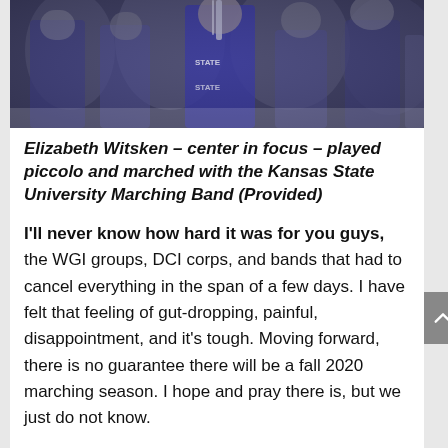[Figure (photo): Photo of Kansas State University Marching Band members in purple uniforms with instruments, blurred background, Elizabeth Witsken center in focus playing piccolo]
Elizabeth Witsken – center in focus – played piccolo and marched with the Kansas State University Marching Band (Provided)
I'll never know how hard it was for you guys, the WGI groups, DCI corps, and bands that had to cancel everything in the span of a few days. I have felt that feeling of gut-dropping, painful, disappointment, and it's tough. Moving forward, there is no guarantee there will be a fall 2020 marching season. I hope and pray there is, but we just do not know.